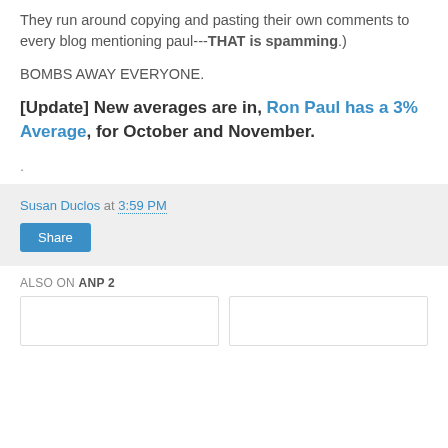They run around copying and pasting their own comments to every blog mentioning paul---THAT is spamming.)
BOMBS AWAY EVERYONE.
[Update] New averages are in, Ron Paul has a 3% Average, for October and November.
.
Susan Duclos at 3:59 PM
Share
ALSO ON ANP 2